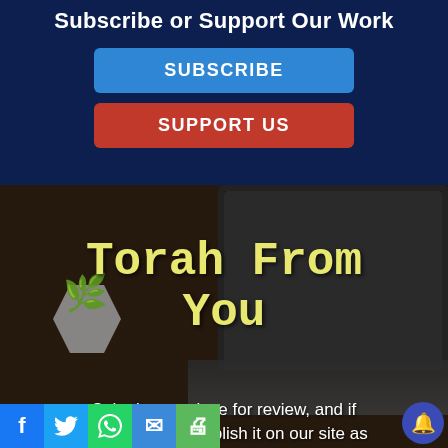Subscribe or Support Our Work
SUBSCRIBE
SUPPORT US
[Figure (photo): Dark wood desk background with a laptop computer and a small succulent plant in a hexagonal pot, overlaid with dark tint. Text 'Torah From You' overlaid in yellow monospace font.]
Submit your piece for review, and if approved we'll publish it on our site as